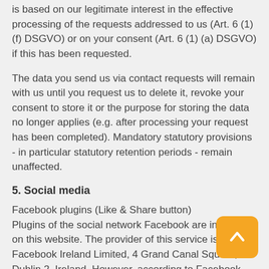is based on our legitimate interest in the effective processing of the requests addressed to us (Art. 6 (1) (f) DSGVO) or on your consent (Art. 6 (1) (a) DSGVO) if this has been requested.
The data you send us via contact requests will remain with us until you request us to delete it, revoke your consent to store it or the purpose for storing the data no longer applies (e.g. after processing your request has been completed). Mandatory statutory provisions - in particular statutory retention periods - remain unaffected.
5. Social media
Facebook plugins (Like & Share button)
Plugins of the social network Facebook are integrated on this website. The provider of this service is Facebook Ireland Limited, 4 Grand Canal Square, Dublin 2, Ireland. However, according to Facebook, the data collected is also transferred to the USA and other third countries. You can recognise the Facebook plugins by the Facebook logo or the "Like" button ("Like") on this website. You can find an overview of the Facebook